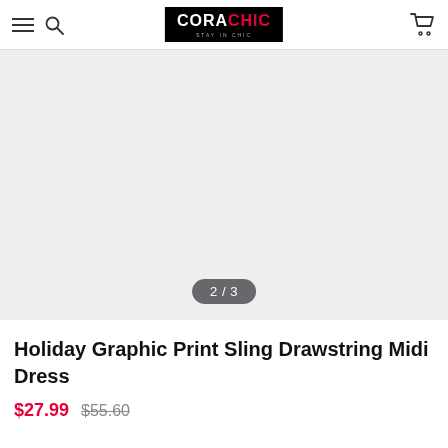CORACHIC — navigation header with menu, search, and cart icons
[Figure (other): Product image area showing a blank/loading grey background with image counter badge '2 / 3']
Holiday Graphic Print Sling Drawstring Midi Dress
$27.99  $55.60